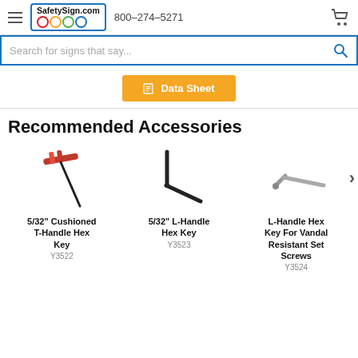SafetySign.com   800-274-5271
Search for signs that say...
Data Sheet
Recommended Accessories
[Figure (photo): Red T-handle hex key tool, bent at a right angle with a red cushioned grip]
5/32" Cushioned T-Handle Hex Key
Y3522
[Figure (photo): Black L-shaped hex key (Allen wrench)]
5/32" L-Handle Hex Key
Y3523
[Figure (photo): Grey L-Handle Hex Key for vandal resistant set screws]
L-Handle Hex Key For Vandal Resistant Set Screws
Y3524